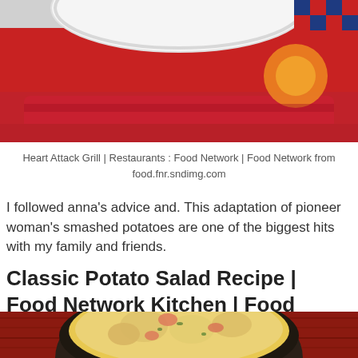[Figure (photo): Top portion of a food photo showing a red plate on a red checkered tablecloth with a bright orange/yellow highlight, restaurant setting for Heart Attack Grill]
Heart Attack Grill | Restaurants : Food Network | Food Network from food.fnr.sndimg.com
I followed anna's advice and. This adaptation of pioneer woman's smashed potatoes are one of the biggest hits with my family and friends.
Classic Potato Salad Recipe | Food Network Kitchen | Food
[Figure (photo): Bottom portion showing a dark bowl filled with classic potato salad (yellow potatoes, red peppers, green herbs in creamy dressing) on a red wooden background]